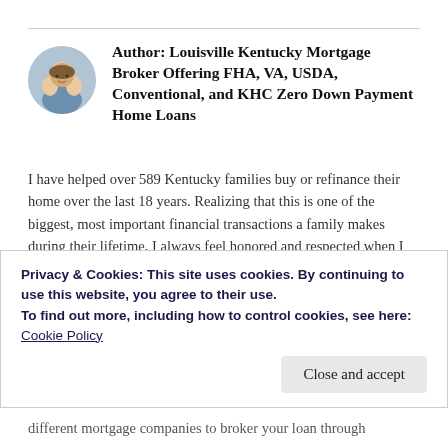[Figure (photo): Circular author photo showing a family group]
Author: Louisville Kentucky Mortgage Broker Offering FHA, VA, USDA, Conventional, and KHC Zero Down Payment Home Loans
I have helped over 589 Kentucky families buy or refinance their home over the last 18 years. Realizing that this is one of the biggest, most important financial transactions a family makes during their lifetime, I always feel honored and respected when I am chosen to originate their personal home loan. You can count on me to deliver on what I say, and I will always give you honest, up-front personal
Privacy & Cookies: This site uses cookies. By continuing to use this website, you agree to their use.
To find out more, including how to control cookies, see here: Cookie Policy
different mortgage companies to broker your loan through